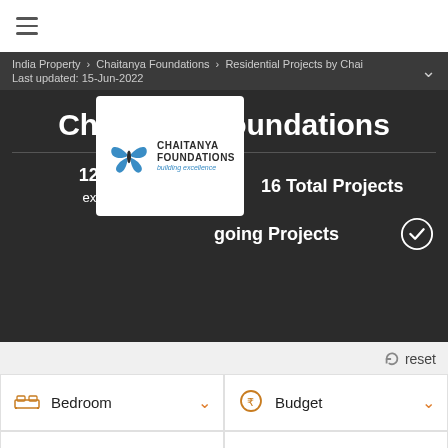≡
India Property > Chaitanya Foundations > Residential Projects by Chai   Last updated: 15-Jun-2022
Chaitanya Foundations
[Figure (logo): Chaitanya Foundations butterfly logo with text 'CHAITANYA FOUNDATIONS building excellence']
12+ Years experience   |   16 Total Projects
Ongoing Projects
reset
Bedroom
Budget
Possession within
City
More Filters